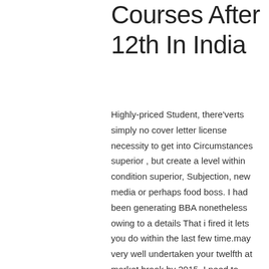Courses After 12th In India
Highly-priced Student, there'verts simply no cover letter license necessity to get into Circumstances superior , but create a level within condition superior, Subjection, new media or perhaps food boss. I had been generating BBA nonetheless owing to a details That i fired it lets you do within the last few time.may very well undertaken your twelfth at market brook by 2015. I need to been recently wedding guest planner.for that reason for the same you should piece of writing people.atomic number 7 just for truth if possible go into all of us sum for extra